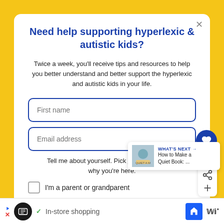Need help supporting hyperlexic & autistic kids?
Twice a week, you'll receive tips and resources to help you better understand and better support the hyperlexic and autistic kids in your life.
First name
Email address
Tell me about yourself. Pick one that best describes why you're here.
I'm a parent or grandparent
WHAT'S NEXT → How to Make a Quiet Book: ...
In-store shopping